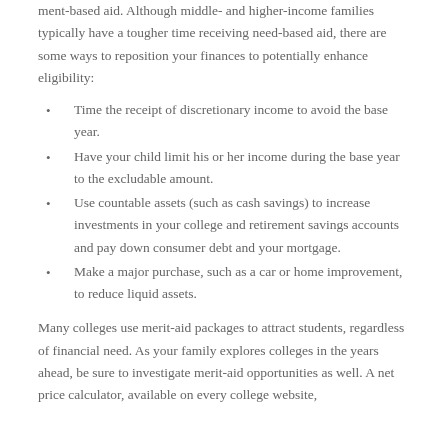ment-based aid. Although middle- and higher-income families typically have a tougher time receiving need-based aid, there are some ways to reposition your finances to potentially enhance eligibility:
Time the receipt of discretionary income to avoid the base year.
Have your child limit his or her income during the base year to the excludable amount.
Use countable assets (such as cash savings) to increase investments in your college and retirement savings accounts and pay down consumer debt and your mortgage.
Make a major purchase, such as a car or home improvement, to reduce liquid assets.
Many colleges use merit-aid packages to attract students, regardless of financial need. As your family explores colleges in the years ahead, be sure to investigate merit-aid opportunities as well. A net price calculator, available on every college website,